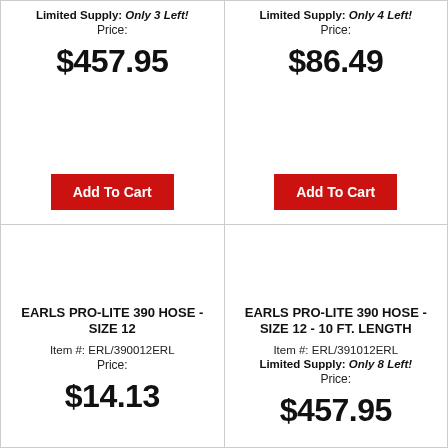Limited Supply: Only 3 Left!
Price:
$457.95
Add To Cart
Limited Supply: Only 4 Left!
Price:
$86.49
Add To Cart
EARLS PRO-LITE 390 HOSE - SIZE 12
Item #: ERL/390012ERL
Price:
$14.13
EARLS PRO-LITE 390 HOSE - SIZE 12 - 10 FT. LENGTH
Item #: ERL/391012ERL
Limited Supply: Only 8 Left!
Price:
$457.95